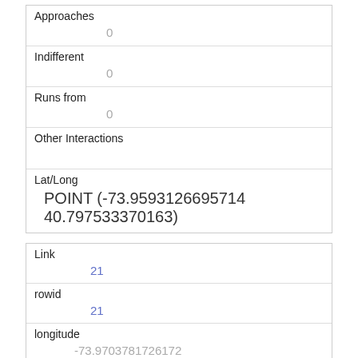| Approaches | 0 |
| Indifferent | 0 |
| Runs from | 0 |
| Other Interactions |  |
| Lat/Long | POINT (-73.9593126695714 40.797533370163) |
| Link | 21 |
| rowid | 21 |
| longitude | -73.9703781726172 |
| latitude | 40.778752613032104 |
| Unique Squirrel ID | 16C-PM-1018-03 |